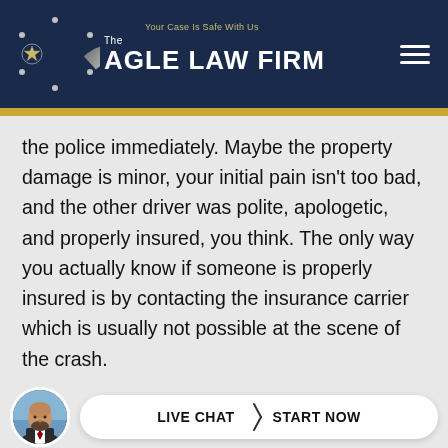[Figure (logo): Cagle Law Firm logo with metallic C emblem and text 'The Cagle Law Firm — Your Case Is Safe With Us' on dark navy background]
the police immediately. Maybe the property damage is minor, your initial pain isn't too bad, and the other driver was polite, apologetic, and properly insured, you think. The only way you actually know if someone is properly insured is by contacting the insurance carrier which is usually not possible at the scene of the crash.
The problem with failing to involve the police is that there now exists no official record of what actually happened. This...
[Figure (infographic): Live Chat — Start Now button with attorney avatar photo at bottom of page]